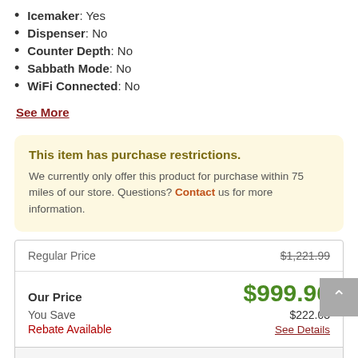Icemaker: Yes
Dispenser: No
Counter Depth: No
Sabbath Mode: No
WiFi Connected: No
See More
This item has purchase restrictions. We currently only offer this product for purchase within 75 miles of our store. Questions? Contact us for more information.
|  |  |
| --- | --- |
| Regular Price | $1,221.99 |
| Our Price | $999.96 |
| You Save | $222.03 |
| Rebate Available | See Details |
Enter Zip Code *